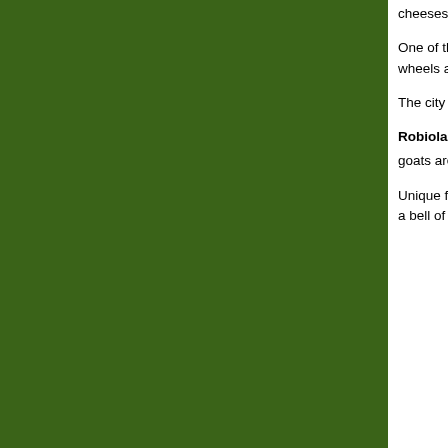[Figure (photo): Large dark green panel occupying the left portion of the page]
cheeses so produc… adherence to tradit…
One of those eight… blue popular with It… named after Saint … currency to pay rem… wheels a year with…
The city of Bra, birt… include Bra Tenero… a bigger taste and… Cheese Festival.
Robiola di Roccav…
goats are raised on… cheese was called… cheese. Around Pi… parsley, garlic, bre…
Unique from this re… Toma della Langa… white wine. There'… stronger than Bros… "it has a bell of a k…